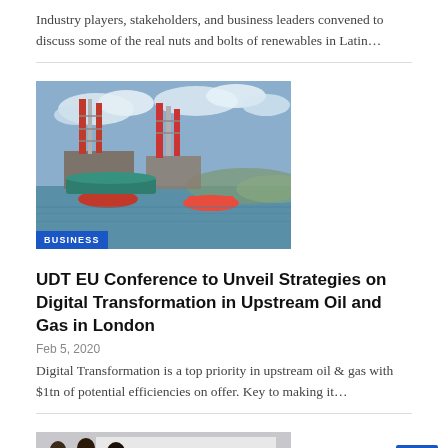Industry players, stakeholders, and business leaders convened to discuss some of the real nuts and bolts of renewables in Latin...
[Figure (photo): Offshore oil drilling rigs with cranes and masts in a harbor, red support vessels visible, cloudy sky, with a blue BUSINESS badge overlay at bottom left.]
UDT EU Conference to Unveil Strategies on Digital Transformation in Upstream Oil and Gas in London
Feb 5, 2020
Digital Transformation is a top priority in upstream oil & gas with $1tn of potential efficiencies on offer. Key to making it...
[Figure (photo): People posing in front of a banner reading 'Imagicare beauti...' at what appears to be a business event.]